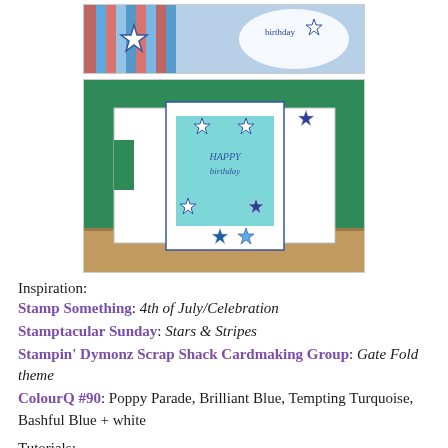[Figure (photo): Top photo of handmade card with stripes, stars, and circular element saying 'birthday']
[Figure (photo): Photo of open gate fold card with stars decorations, 'HAPPY' text visible on teal interior, displayed on wooden surface with green background]
Inspiration:
Stamp Something: 4th of July/Celebration
Stamptacular Sunday: Stars & Stripes
Stampin' Dymonz Scrap Shack Cardmaking Group: Gate Fold theme
ColourQ #90: Poppy Parade, Brilliant Blue, Tempting Turquoise, Bashful Blue + white
Tutorials:
Coloring Clothing at Color Me Copic